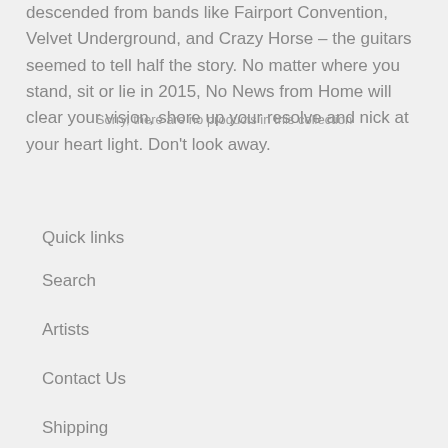descended from bands like Fairport Convention, Velvet Underground, and Crazy Horse – the guitars seemed to tell half the story. No matter where you stand, sit or lie in 2015, No News from Home will clear your vision, shore up your resolve and nick at your heart light. Don't look away.
Sorry, there are no products in this collection
Quick links
Search
Artists
Contact Us
Shipping